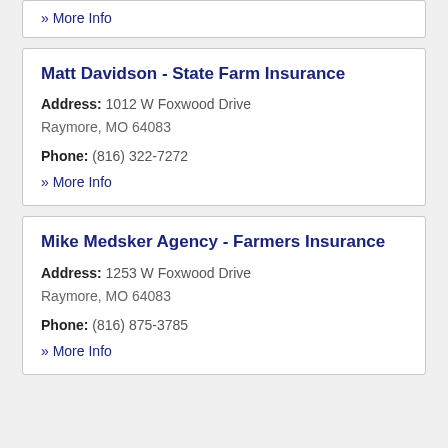» More Info
Matt Davidson - State Farm Insurance
Address: 1012 W Foxwood Drive Raymore, MO 64083
Phone: (816) 322-7272
» More Info
Mike Medsker Agency - Farmers Insurance
Address: 1253 W Foxwood Drive Raymore, MO 64083
Phone: (816) 875-3785
» More Info